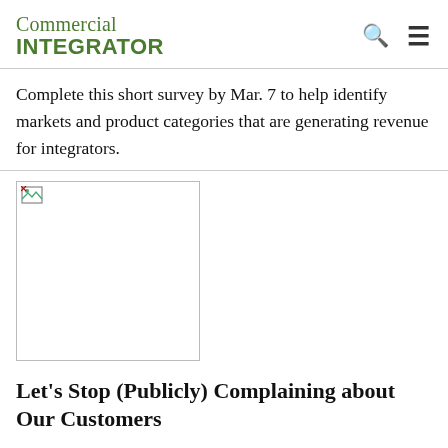Commercial INTEGRATOR
Complete this short survey by Mar. 7 to help identify markets and product categories that are generating revenue for integrators.
[Figure (photo): Broken/placeholder image, white rectangle with broken image icon in top-left corner]
Let’s Stop (Publicly) Complaining about Our Customers
The integration industry has taken to “publicly shaming” our clients via Twitter and sharing of stupid